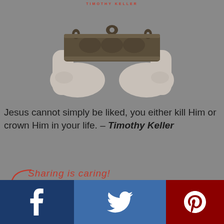[Figure (photo): Black and white photo of hands holding up a decorative crown, book cover image by Timothy Keller. Author name 'TIMOTHY KELLER' appears in red text at the top.]
Jesus cannot simply be liked, you either kill Him or crown Him in your life. – Timothy Keller
[Figure (infographic): Sharing is caring! label in red script with social share buttons: Twitter, Facebook (with 458 badge), Pinterest, Email, WhatsApp]
[Figure (infographic): Bottom social share bar with Facebook (dark blue), Twitter (medium blue), and Pinterest (dark red) icons]